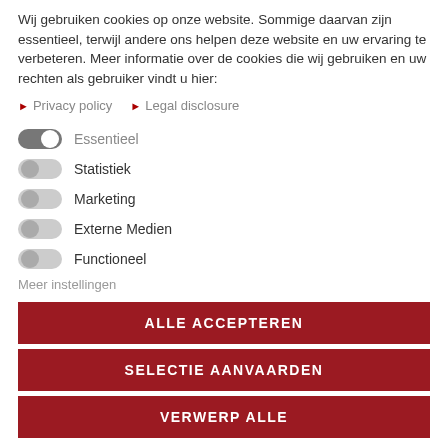Wij gebruiken cookies op onze website. Sommige daarvan zijn essentieel, terwijl andere ons helpen deze website en uw ervaring te verbeteren. Meer informatie over de cookies die wij gebruiken en uw rechten als gebruiker vindt u hier:
▶ Privacy policy  ▶ Legal disclosure
Essentieel (toggle on)
Statistiek (toggle off)
Marketing (toggle off)
Externe Medien (toggle off)
Functioneel (toggle off)
Meer instellingen
ALLE ACCEPTEREN
SELECTIE AANVAARDEN
VERWERP ALLE